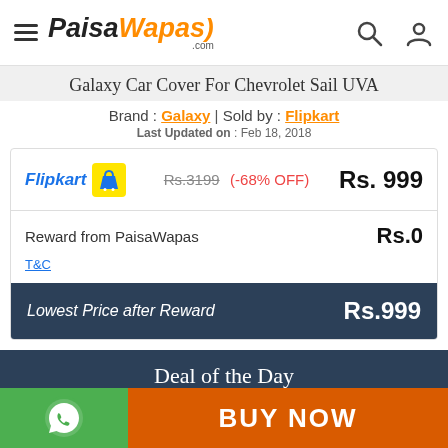PaisaWapas.com
Galaxy Car Cover For Chevrolet Sail UVA
Brand : Galaxy | Sold by : Flipkart
Last Updated on : Feb 18, 2018
| Seller | Original Price | Discount | Final Price |
| --- | --- | --- | --- |
| Flipkart | Rs.3199 | (-68% OFF) | Rs.999 |
| Reward from PaisaWapas |  |  | Rs.0 |
| Lowest Price after Reward |  |  | Rs.999 |
T&C
Deal of the Day
BUY NOW